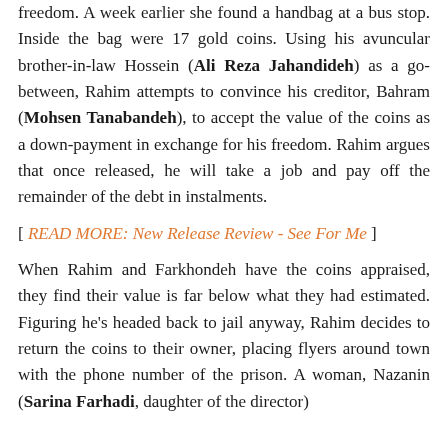freedom. A week earlier she found a handbag at a bus stop. Inside the bag were 17 gold coins. Using his avuncular brother-in-law Hossein (Ali Reza Jahandideh) as a go-between, Rahim attempts to convince his creditor, Bahram (Mohsen Tanabandeh), to accept the value of the coins as a down-payment in exchange for his freedom. Rahim argues that once released, he will take a job and pay off the remainder of the debt in instalments.
[ READ MORE: New Release Review - See For Me ]
When Rahim and Farkhondeh have the coins appraised, they find their value is far below what they had estimated. Figuring he's headed back to jail anyway, Rahim decides to return the coins to their owner, placing flyers around town with the phone number of the prison. A woman, Nazanin (Sarina Farhadi, daughter of the director)